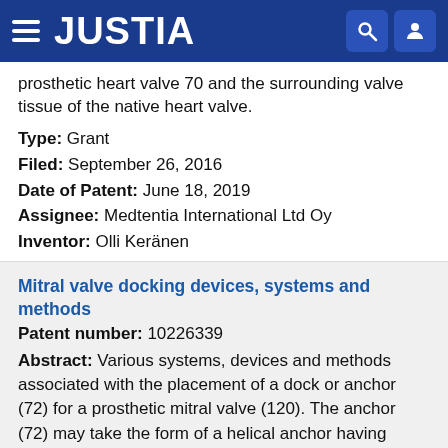JUSTIA
prosthetic heart valve 70 and the surrounding valve tissue of the native heart valve.
Type: Grant
Filed: September 26, 2016
Date of Patent: June 18, 2019
Assignee: Medtentia International Ltd Oy
Inventor: Olli Keränen
Mitral valve docking devices, systems and methods
Patent number: 10226339
Abstract: Various systems, devices and methods associated with the placement of a dock or anchor (72) for a prosthetic mitral valve (120). The anchor (72) may take the form of a helical anchor having multiple coils (104, 108) and/or a stent-like structure. Various methods include different levels of minimal invasive procedures for delivering the prosthetic valve anchor (72) and